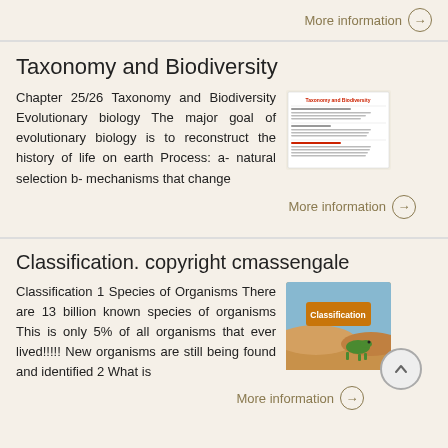More information →
Taxonomy and Biodiversity
Chapter 25/26 Taxonomy and Biodiversity Evolutionary biology The major goal of evolutionary biology is to reconstruct the history of life on earth Process: a- natural selection b- mechanisms that change
[Figure (illustration): Thumbnail image of a document titled Taxonomy and Biodiversity with red heading text and small body text]
More information →
Classification. copyright cmassengale
Classification 1 Species of Organisms There are 13 billion known species of organisms This is only 5% of all organisms that ever lived!!!!! New organisms are still being found and identified 2 What is
[Figure (photo): Thumbnail image showing a Classification sign with a frog/lizard in a desert landscape]
More information →